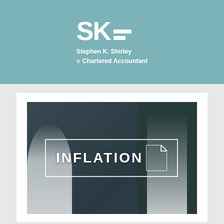[Figure (logo): SK logo with two horizontal lines and text 'Stephen K. Shirley Chartered Accountant' on teal background]
[Figure (photo): Trading floor photo with people working at computers with multiple monitors showing financial data, overlaid with large white text 'INFLATION' inside a rectangular border with a document-corner fold symbol]